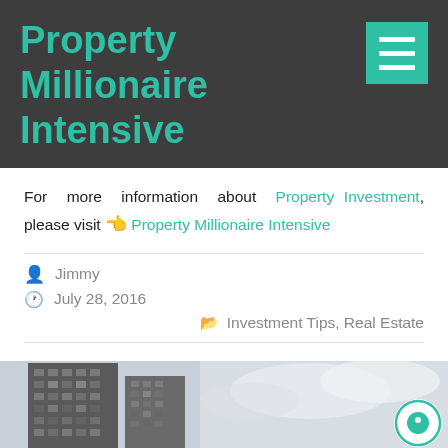Property Millionaire Intensive
For more information about Property Investment, please visit 👈 Property Millionaire Intensive
Jimmy
July 28, 2016
Investment Tips, Real Estate
[Figure (photo): Photo of a tall apartment or office building exterior against a cloudy sky]